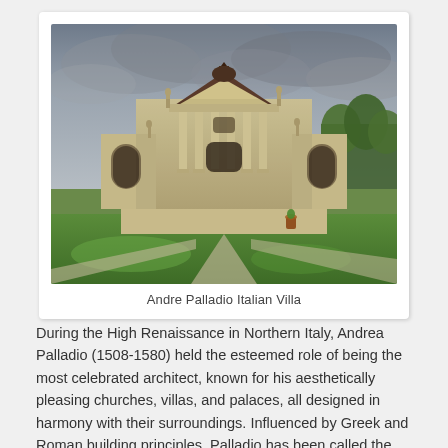[Figure (photo): Photograph of Villa Capra (La Rotonda) designed by Andrea Palladio, an Italian Renaissance villa with classical columns, triangular pediment, and surrounding green lawn under a dramatic cloudy sky.]
Andre Palladio Italian Villa
During the High Renaissance in Northern Italy, Andrea Palladio (1508-1580) held the esteemed role of being the most celebrated architect, known for his aesthetically pleasing churches, villas, and palaces, all designed in harmony with their surroundings. Influenced by Greek and Roman building principles, Palladio has been called the first architect of Venice and the most influential individual in the history of Western Architecture, as his impact can been seen all over